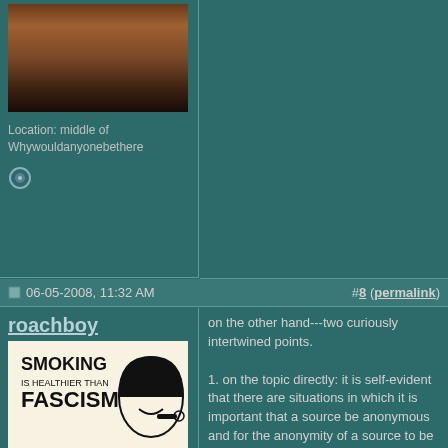[Figure (photo): Partial face photo of a person, showing lower nose and mouth area with dark/reddish tones]
Location: middle of Whywouldanyonebethere
06-05-2008, 11:32 AM
#8 (permalink)
roachboy
[Figure (illustration): Black and white illustration with text 'SMOKING IS HEALTHIER THAN FASCISM' with a retro cartoon face smoking a pipe]
Super Moderator
Location: essex ma
on the other hand---two curiously intertwined points.

1. on the topic directly: it is self-evident that there are situations in which it is important that a source be anonymous and for the anonymity of a source to be protected and respected---whistleblower law exists to provide formal protection for such sources (who might have information concerning unethical practices on the part of the company they work for, but whose livelihood might be endangered were it to become known that x was the person to made that information public)--but it is pretty obvious that this law only protects in some ways, not in all...